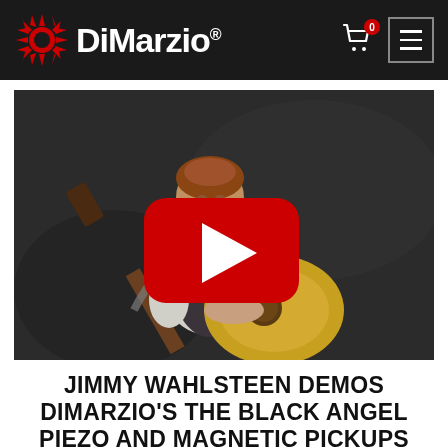DiMarzio®
[Figure (photo): Video thumbnail showing Jimmy Wahlsteen playing acoustic guitar, with a red YouTube play button overlay in the center. He has red hair, is wearing a white shirt and dark vest, and is looking down at the guitar.]
JIMMY WAHLSTEEN DEMOS DIMARZIO'S THE BLACK ANGEL PIEZO AND MAGNETIC PICKUPS